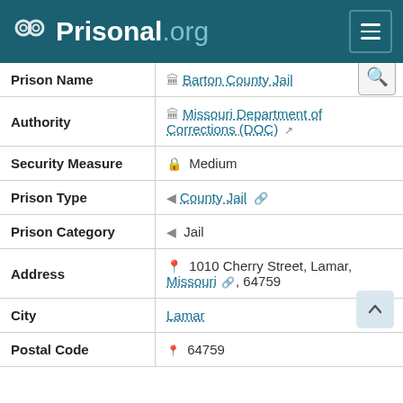Prisonal.org
| Field | Value |
| --- | --- |
| Prison Name | Barton County Jail |
| Authority | Missouri Department of Corrections (DOC) |
| Security Measure | Medium |
| Prison Type | County Jail |
| Prison Category | Jail |
| Address | 1010 Cherry Street, Lamar, Missouri, 64759 |
| City | Lamar |
| Postal Code | 64759 |